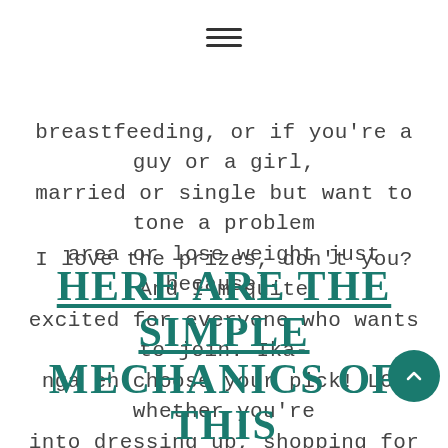[Figure (other): Hamburger menu icon (three horizontal lines)]
breastfeeding, or if you're a guy or a girl, married or single but want to tone a problem area or lose weight just because).
I love the prizes, don't you? And I'm quite excited for everyone who wants to join. Ikanga eh choose your pick! LOL whether you're into dressing up, shopping for your lil' ones or want to prettify yourself even more eh you have options to choose from!
HERE ARE THE SIMPLE MECHANICS OF THIS